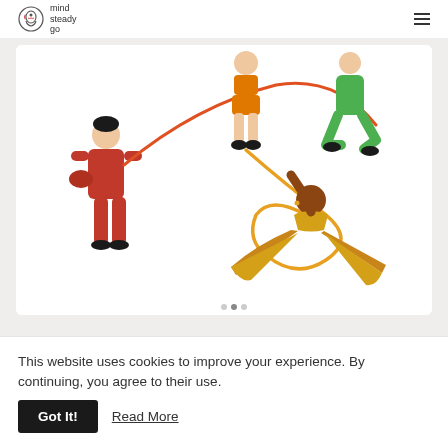mind steady go
[Figure (illustration): Illustrated figures doing physical activity with ropes. A person in red standing holding a rope on the left, a person in orange shorts jumping rope in the center top, a green figure jumping on the right, and a dark-skinned woman in yellow athletic wear doing a splits/yoga pose in the center-right, holding a rope overhead.]
This website uses cookies to improve your experience. By continuing, you agree to their use.
Got It!
Read More